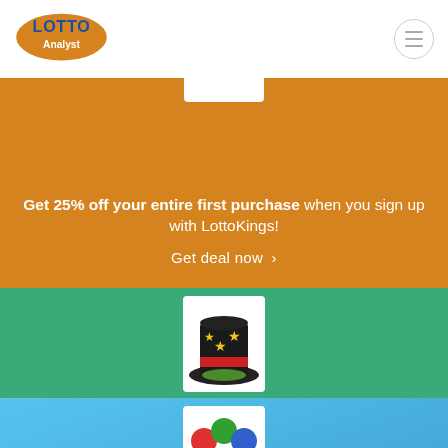Lotto Analyst
[Figure (illustration): Lotto Analyst logo with orange ellipse and blue text]
Get 25% off your entire first purchase when you sign up with LottoKings!
Get deal now >
[Figure (illustration): Magic hat with stars icon for WinTrillions]
Sign up with WinTrillions and save 25% off your entire first order!
Get deal now >
[Figure (illustration): PlayHuge lottery logo]